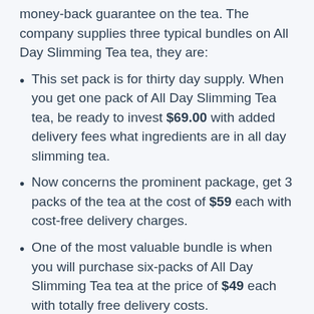money-back guarantee on the tea. The company supplies three typical bundles on All Day Slimming Tea tea, they are:
This set pack is for thirty day supply. When you get one pack of All Day Slimming Tea tea, be ready to invest $69.00 with added delivery fees what ingredients are in all day slimming tea.
Now concerns the prominent package, get 3 packs of the tea at the cost of $59 each with cost-free delivery charges.
One of the most valuable bundle is when you will purchase six-packs of All Day Slimming Tea tea at the price of $49 each with totally free delivery costs.